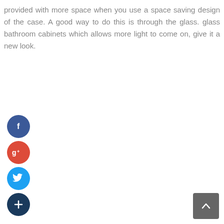provided with more space when you use a space saving design of the case. A good way to do this is through the glass. glass bathroom cabinets which allows more light to come on, give it a new look.
[Figure (infographic): Social media share icons: Facebook (blue circle with f), Google+ (red circle with g+), Twitter (blue circle with bird), Plus/Add (dark navy circle with +)]
[Figure (other): Back to top button: grey rounded square with white upward caret arrow]